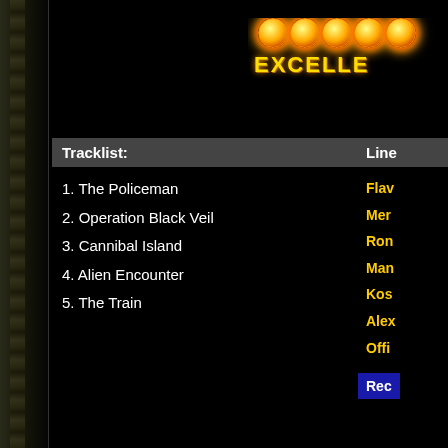[Figure (logo): Logo with glowing orb/ball icons and stylized text 'EXCELLE' partially visible, top right corner]
Tracklist:
1. The Policeman
2. Operation Black Veil
3. Cannibal Island
4. Alien Encounter
5. The Train
Line
Flav
Mer
Ron
Man
Kos
Alex
Offi
Rec